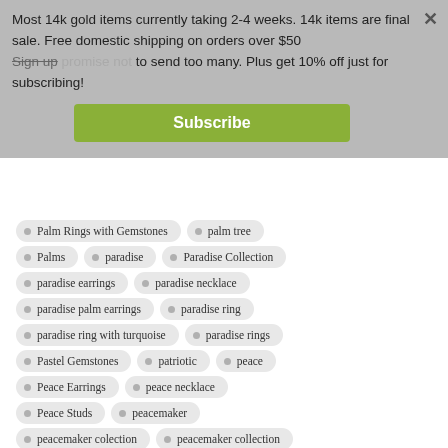Most 14k gold items currently taking 2-4 weeks. 14k items are final sale. Free domestic shipping on orders over $50
Sign up ... promise not to send too many. Plus get 10% off just for subscribing!
Subscribe
Palm Rings with Gemstones
palm tree
Palms
paradise
Paradise Collection
paradise earrings
paradise necklace
paradise palm earrings
paradise ring
paradise ring with turquoise
paradise rings
Pastel Gemstones
patriotic
peace
Peace Earrings
peace necklace
Peace Studs
peacemaker
peacemaker colection
peacemaker collection
peacemaker necklace
peacemaker pendant
peach moonstone
peridot